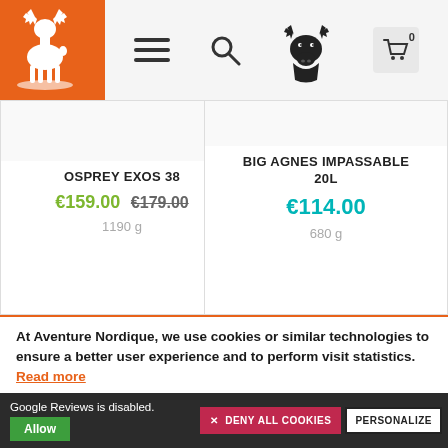[Figure (screenshot): E-commerce website header with orange logo (reindeer), hamburger menu, search icon, deer head icon, and shopping cart with 0 items]
OSPREY EXOS 38
€159.00  €179.00
1190 g
BIG AGNES IMPASSABLE 20L
€114.00
680 g
[Figure (photo): Product card with -15% badge and partial blue backpack image]
[Figure (photo): Product card with NEW badge and partial green hat image]
At Aventure Nordique, we use cookies or similar technologies to ensure a better user experience and to perform visit statistics. Read more
Google Reviews is disabled.
Allow
✕  DENY ALL COOKIES
PERSONALIZE